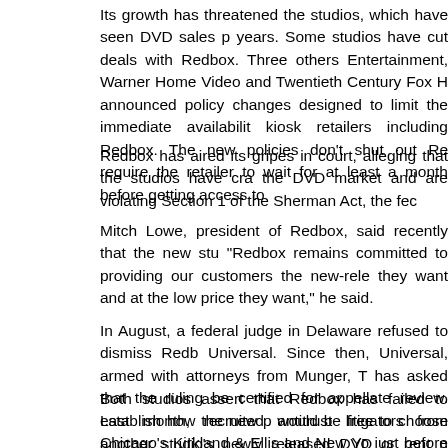Its growth has threatened the studios, which have seen DVD sales p... years. Some studios have cut deals with Redbox. Three others Entertainment, Warner Home Video and Twentieth Century Fox H... announced policy changes designed to limit the immediate availabilit... kiosk retailers including Redbox. The new policies don’t shut out Re... require the retailer to wait for at least a month before getting access to...
Redbox has aired its gripes in court, alleging that the studios have cra... the DVD market and are violating Section 1 of the Sherman Act, the fec...
Mitch Lowe, president of Redbox, said recently that the new stu... “Redbox remains committed to providing our customers the new-rele... they want and at the low price they want,” he said.
In August, a federal judge in Delaware refused to dismiss Redb... Universal. Since then, Universal, armed with attorneys from Munger, T... has asked that the ruling be certified for appellate review. Last month,... recruited antitrust litigators from Chicago’s Kirkland & Ellis and New Yo... just before filing their first motions to dismiss on Oct. 1 in two separate...
Both studios assert that Redbox has failed to establish how the new p... would be free to choose another studio’s newly released DVD or rent n... such as Netflix. The studios insist that they simply are making busi... antitrust law. “The basic problem with their case in our view is tha... unsuccessful business negotiation into an antitrust violation,” said Fox...